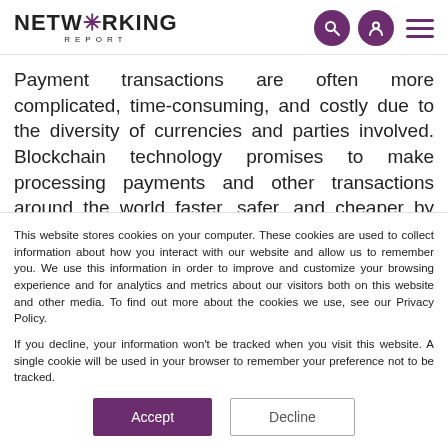NETW*RKING REPORT
Payment transactions are often more complicated, time-consuming, and costly due to the diversity of currencies and parties involved. Blockchain technology promises to make processing payments and other transactions around the world faster, safer, and cheaper by getting rid of the need for mediators like correspondent banks and clearing...
This website stores cookies on your computer. These cookies are used to collect information about how you interact with our website and allow us to remember you. We use this information in order to improve and customize your browsing experience and for analytics and metrics about our visitors both on this website and other media. To find out more about the cookies we use, see our Privacy Policy.

If you decline, your information won't be tracked when you visit this website. A single cookie will be used in your browser to remember your preference not to be tracked.